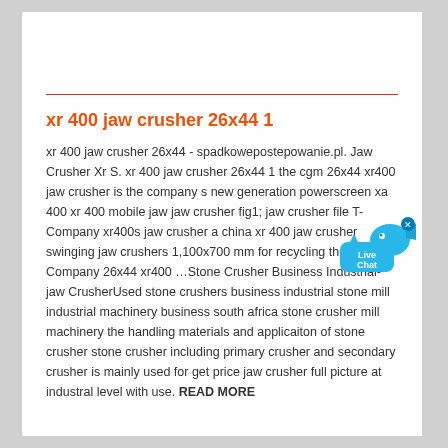xr 400 jaw crusher 26x44 1
xr 400 jaw crusher 26x44 - spadkowepostepowanie.pl. Jaw Crusher Xr S. xr 400 jaw crusher 26x44 1 the cgm 26x44 xr400 jaw crusher is the company s new generation powerscreen xa 400 xr 400 mobile jaw jaw crusher fig1; jaw crusher file T-Company xr400s jaw crusher a china xr 400 jaw crusher swinging jaw crushers 1,100x700 mm for recycling the T-Company 26x44 xr400 …Stone Crusher Business Industrial-jaw CrusherUsed stone crushers business industrial stone mill industrial machinery business south africa stone crusher mill machinery the handling materials and applicaiton of stone crusher stone crusher including primary crusher and secondary crusher is mainly used for get price jaw crusher full picture at industral level with use. READ MORE